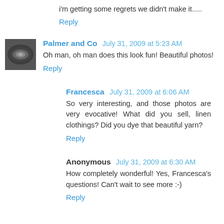i'm getting some regrets we didn't make it.....
Reply
[Figure (photo): Small avatar photo of Palmer and Co - black and white image of what appears to be a bowl or dish]
Palmer and Co  July 31, 2009 at 5:23 AM
Oh man, oh man does this look fun! Beautiful photos!
Reply
Francesca  July 31, 2009 at 6:06 AM
So very interesting, and those photos are very evocative! What did you sell, linen clothings? Did you dye that beautiful yarn?
Reply
Anonymous  July 31, 2009 at 6:30 AM
How completely wonderful! Yes, Francesca's questions! Can't wait to see more :-)
Reply